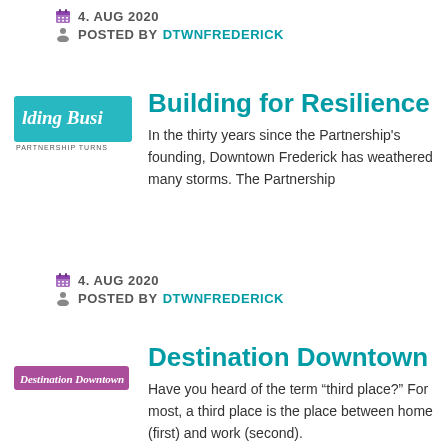4. AUG 2020 | POSTED BY DTWNFREDERICK
[Figure (logo): Partial logo showing 'lding Busi' text in script on teal background, with 'PARTNERSHIP TURNS' text below]
Building for Resilience
In the thirty years since the Partnership's founding, Downtown Frederick has weathered many storms. The Partnership
4. AUG 2020 | POSTED BY DTWNFREDERICK
[Figure (logo): Small horizontal logo with pink/purple background showing 'Destination Downtown' in script]
Destination Downtown
Have you heard of the term “third place?” For most, a third place is the place between home (first) and work (second).